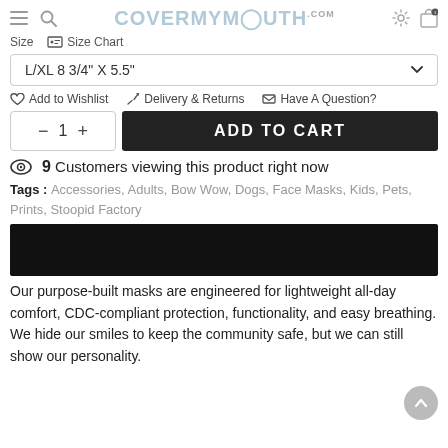COVERMYMOUTH.com
Size  Size Chart
L/XL 8 3/4" X 5.5"
Add to Wishlist   Delivery & Returns   Have A Question?
— 1 +   ADD TO CART
9 Customers viewing this product right now
Tags : Accessories, Adults, Bow Wow, Dogs, Face Masks, Kids, Pets, Prints, Stoopid Factory
[Figure (other): Black promotional/video banner bar]
Our purpose-built masks are engineered for lightweight all-day comfort, CDC-compliant protection, functionality, and easy breathing. We hide our smiles to keep the community safe, but we can still show our personality.